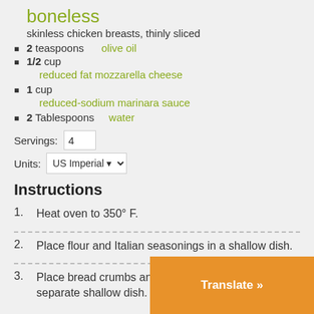boneless
skinless chicken breasts, thinly sliced
2 teaspoons   olive oil
1/2 cup   reduced fat mozzarella cheese
1 cup   reduced-sodium marinara sauce
2 Tablespoons   water
Servings: 4
Units: US Imperial
Instructions
1. Heat oven to 350° F.
2. Place flour and Italian seasonings in a shallow dish.
3. Place bread crumbs and eggs each in a separate shallow dish.